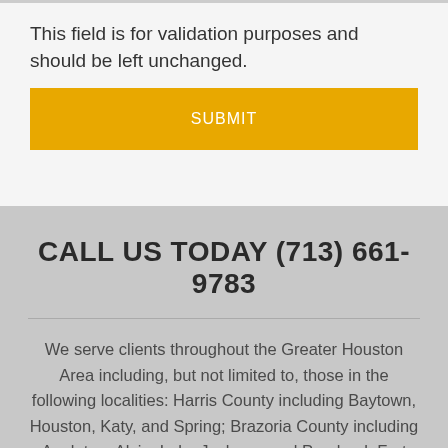This field is for validation purposes and should be left unchanged.
SUBMIT
CALL US TODAY (713) 661-9783
We serve clients throughout the Greater Houston Area including, but not limited to, those in the following localities: Harris County including Baytown, Houston, Katy, and Spring; Brazoria County including Angleton, Alvin, Lake Jackson, and Pearland; Fort Bend